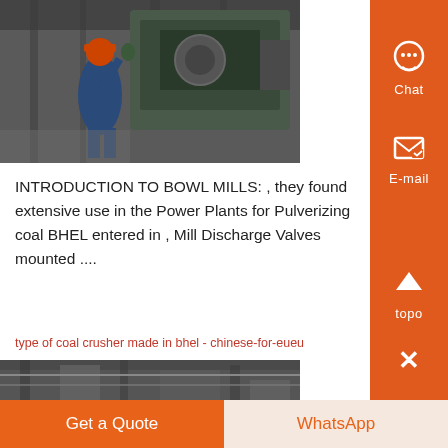[Figure (photo): Industrial worker in hard hat and blue overalls operating heavy machinery in a factory/plant setting]
INTRODUCTION TO BOWL MILLS: , they found extensive use in the Power Plants for Pulverizing coal BHEL entered in , Mill Discharge Valves mounted ....
type of coal crusher made in bhel - chinese-for-eueu
[Figure (photo): Industrial facility or plant equipment, partial view at bottom of page]